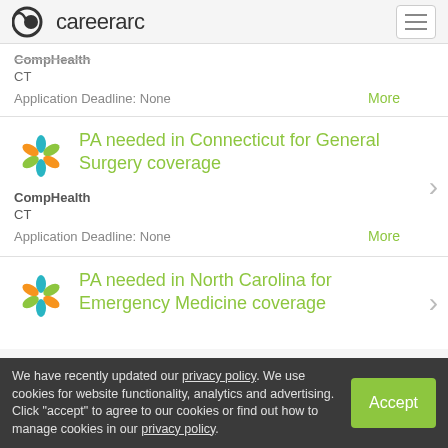careerarc
CompHealth
CT
Application Deadline: None
PA needed in Connecticut for General Surgery coverage
CompHealth
CT
Application Deadline: None
PA needed in North Carolina for Emergency Medicine coverage
We have recently updated our privacy policy. We use cookies for website functionality, analytics and advertising. Click "accept" to agree to our cookies or find out how to manage cookies in our privacy policy.